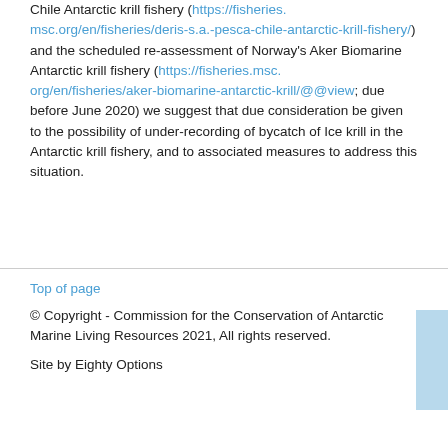Chile Antarctic krill fishery (https://fisheries.msc.org/en/fisheries/deris-s.a.-pesca-chile-antarctic-krill-fishery/) and the scheduled re-assessment of Norway's Aker Biomarine Antarctic krill fishery (https://fisheries.msc.org/en/fisheries/aker-biomarine-antarctic-krill/@@view; due before June 2020) we suggest that due consideration be given to the possibility of under-recording of bycatch of Ice krill in the Antarctic krill fishery, and to associated measures to address this situation.
Top of page
© Copyright - Commission for the Conservation of Antarctic Marine Living Resources 2021, All rights reserved.
Site by Eighty Options